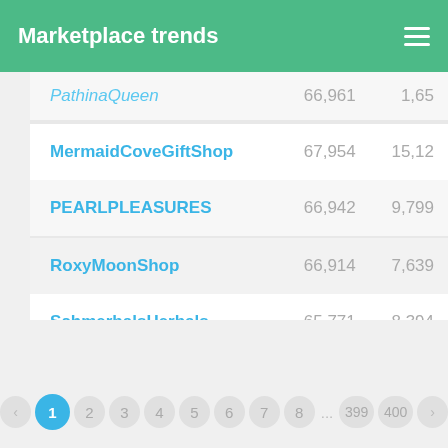Marketplace trends
| Shop | Sales | Revenue |
| --- | --- | --- |
| PathinaQueen | 66,961 | 1,65 |
| MermaidCoveGiftShop | 67,954 | 15,12 |
| PEARLPLEASURES | 66,942 | 9,799 |
| RoxyMoonShop | 66,914 | 7,639 |
| SchmerbalsHerbals | 65,771 | 8,394 |
| WispyWillowDesignsCo | 65,755 | 3,908 |
< 1 2 3 4 5 6 7 8 ... 399 400 >